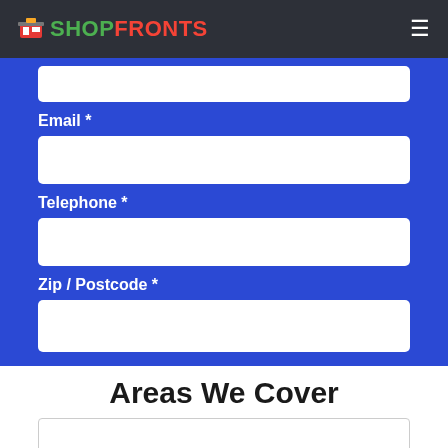SHOPFRONTS
Email *
Telephone *
Zip / Postcode *
Areas We Cover
Catchoms   Carol Green   Berkswell